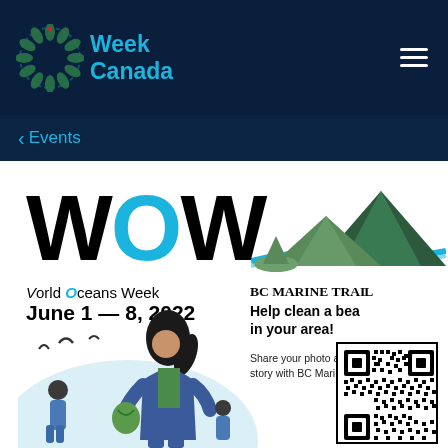[Figure (logo): World Oceans Week Canada logo with circular wreath icon and teal text reading 'Week Canada']
≡
< Events
[Figure (illustration): WOW World Oceans Week promotional card. Shows large WOW text with blue O, mountain/island illustration, 'World Oceans Week June 1 — 8, 2022', 'BC MARINE TRAIL - Help clean a beach in your area! Share your photo and your story with BC Marine Trail', QR code, and illustrated figures cleaning a beach.]